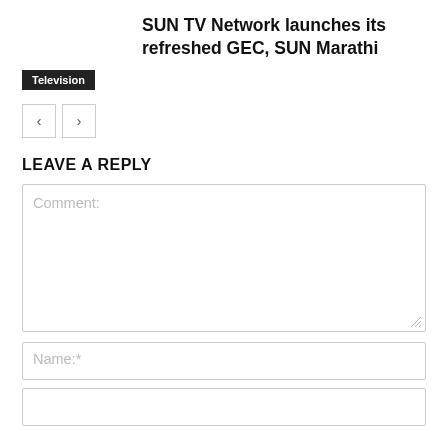SUN TV Network launches its refreshed GEC, SUN Marathi
Television
LEAVE A REPLY
Comment:
Name:*